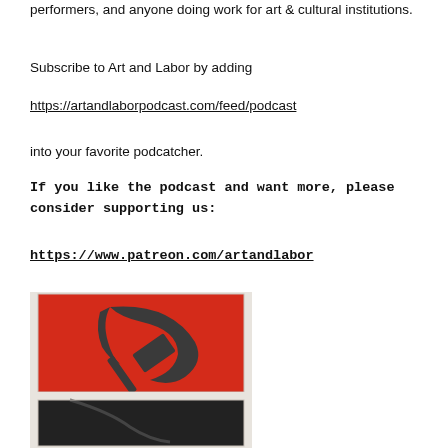performers, and anyone doing work for art & cultural institutions.
Subscribe to Art and Labor by adding
https://artandlaborpodcast.com/feed/podcast
into your favorite podcatcher.
If you like the podcast and want more, please consider supporting us:
https://www.patreon.com/artandlabor
[Figure (photo): Artwork photograph showing a red and black painting with hammer and sickle motif, displayed on a wall. Two paintings are partially visible — the upper one has a red background with a black hammer and sickle symbol, the lower one is mostly black.]